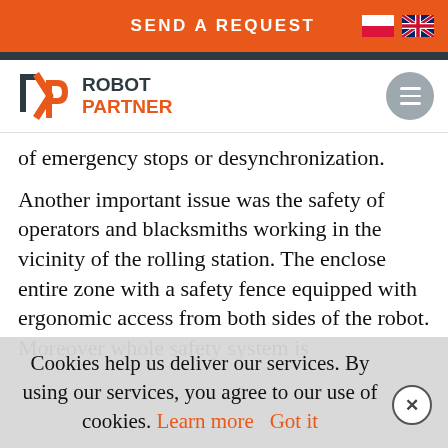SEND A REQUEST
[Figure (logo): Robot Partner logo with RP mark in orange and dark teal, text ROBOT PARTNER]
of emergency stops or desynchronization.
Another important issue was the safety of operators and blacksmiths working in the vicinity of the rolling station. The enclose entire zone with a safety fence equipped with ergonomic access from both sides of the robot. Moreover whole safety system is
Cookies help us deliver our services. By using our services, you agree to our use of cookies. Learn more  Got it